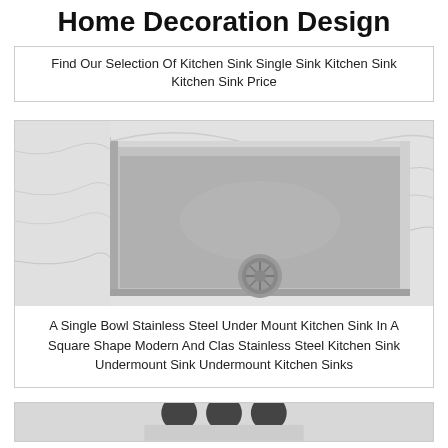Home Decoration Design
Find Our Selection Of Kitchen Sink Single Sink Kitchen Sink Kitchen Sink Price
[Figure (photo): A stainless steel single bowl undermount kitchen sink installed in a white marble countertop, with two chrome cross-handle faucets visible at the top, and a drain strainer at the bottom center of the sink.]
A Single Bowl Stainless Steel Under Mount Kitchen Sink In A Square Shape Modern And Clas Stainless Steel Kitchen Sink Undermount Sink Undermount Kitchen Sinks
[Figure (photo): Partial view of a kitchen sink from below, showing dark drain holes or fixtures against a light background.]